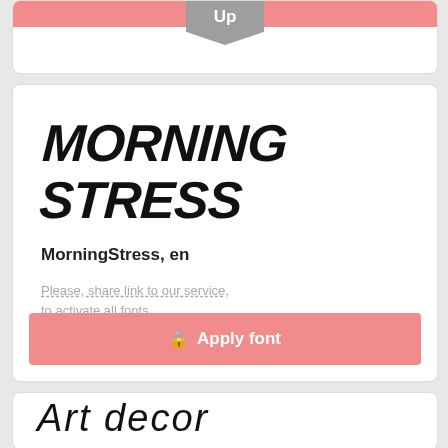[Figure (screenshot): Partial top card showing pink Apply font bar and gray Up badge/dropdown]
[Figure (screenshot): Font card for MorningStress showing large brush-style specimen text]
MorningStress, en
Please, share link to our service, to activate all fonts
[Figure (screenshot): Pink Apply font button with lock icon]
[Figure (screenshot): Bottom card showing Art decor font specimen text]